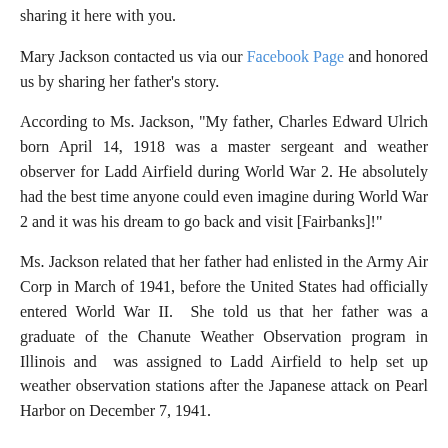sharing it here with you.
Mary Jackson contacted us via our Facebook Page and honored us by sharing her father's story.
According to Ms. Jackson, "My father, Charles Edward Ulrich born April 14, 1918 was a master sergeant and weather observer for Ladd Airfield during World War 2. He absolutely had the best time anyone could even imagine during World War 2 and it was his dream to go back and visit [Fairbanks]!"
Ms. Jackson related that her father had enlisted in the Army Air Corp in March of 1941, before the United States had officially entered World War II.  She told us that her father was a graduate of the Chanute Weather Observation program in Illinois and  was assigned to Ladd Airfield to help set up weather observation stations after the Japanese attack on Pearl Harbor on December 7, 1941.